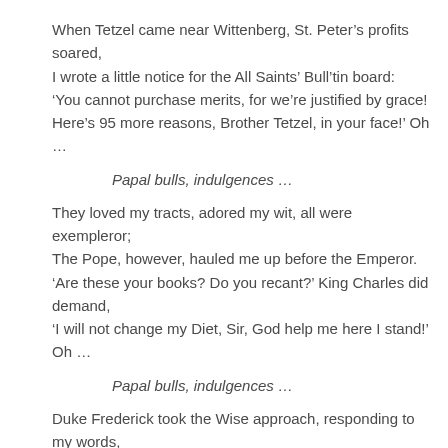When Tetzel came near Wittenberg, St. Peter's profits soared,
I wrote a little notice for the All Saints' Bull'tin board:
'You cannot purchase merits, for we're justified by grace!
Here's 95 more reasons, Brother Tetzel, in your face!' Oh …
Papal bulls, indulgences …
They loved my tracts, adored my wit, all were exempleror;
The Pope, however, hauled me up before the Emperor.
'Are these your books? Do you recant?' King Charles did demand,
'I will not change my Diet, Sir, God help me here I stand!' Oh …
Papal bulls, indulgences …
Duke Frederick took the Wise approach, responding to my words,
By knighting 'George' as hostage in the Kingdom of the Birds.
Use Brother Martin's model if the languages you seek,
Stay locked inside a castle with your Hebrew and your Greek! Oh …